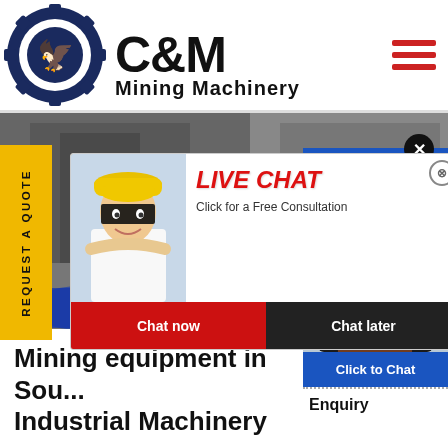[Figure (logo): C&M Mining Machinery logo with eagle in gear icon, dark blue and black]
[Figure (photo): Mining machinery/equipment industrial background photo with workers in yellow hard hats]
[Figure (screenshot): Live Chat popup overlay: title LIVE CHAT, subtitle Click for a Free Consultation, Chat now and Chat later buttons, person in hard hat]
REQUEST A QUOTE
[Figure (photo): Right panel with 24 Hours Online text banner, close X button, female agent with headset photo, Click to Chat button, Enquiry text]
Mining equipment in Sou... Industrial Machinery